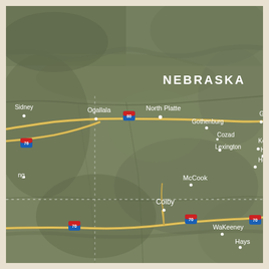[Figure (map): Satellite/terrain map of southern Nebraska and northern Kansas showing cities including Sidney, Ogallala, North Platte, Gothenburg, Cozad, Lexington, Kearney, Holdrege, McCook, Grand Island, Hastings, Colby, WaKeeney, Hays, and interstate highway markers I-76, I-80, I-70.]